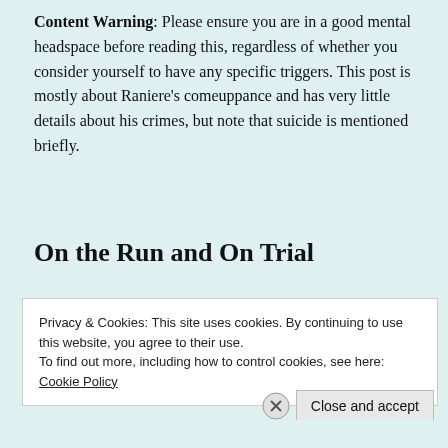Content Warning: Please ensure you are in a good mental headspace before reading this, regardless of whether you consider yourself to have any specific triggers. This post is mostly about Raniere's comeuppance and has very little details about his crimes, but note that suicide is mentioned briefly.
On the Run and On Trial
Privacy & Cookies: This site uses cookies. By continuing to use this website, you agree to their use.
To find out more, including how to control cookies, see here: Cookie Policy